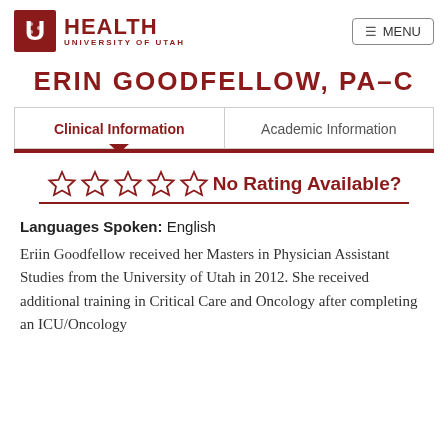U Health University of Utah | MENU
ERIN GOODFELLOW, PA-C
Clinical Information | Academic Information
[Figure (other): Five empty star rating icons followed by 'No Rating Available?' text with underline]
Languages Spoken: English
Eriin Goodfellow received her Masters in Physician Assistant Studies from the University of Utah in 2012. She received additional training in Critical Care and Oncology after completing an ICU/Oncology